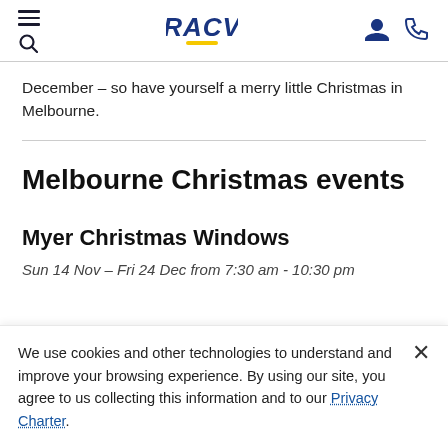RACV navigation header with menu, search, logo, user icon, and phone icon
December – so have yourself a merry little Christmas in Melbourne.
Melbourne Christmas events
Myer Christmas Windows
Sun 14 Nov – Fri 24 Dec from 7:30 am - 10:30 pm
We use cookies and other technologies to understand and improve your browsing experience. By using our site, you agree to us collecting this information and to our Privacy Charter.